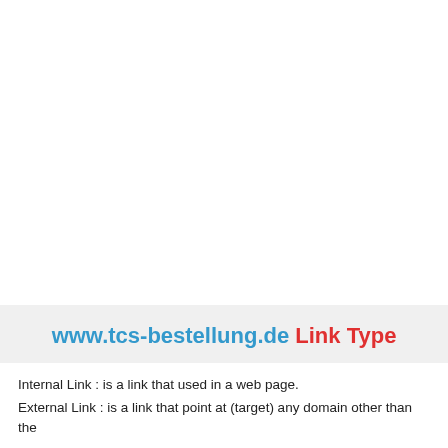www.tcs-bestellung.de Link Type
Internal Link : is a link that used in a web page.
External Link : is a link that point at (target) any domain other than the